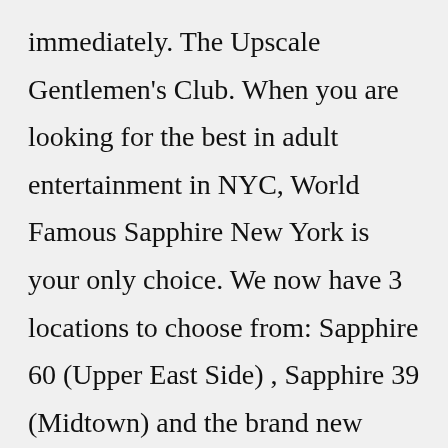immediately. The Upscale Gentlemen's Club. When you are looking for the best in adult entertainment in NYC, World Famous Sapphire New York is your only choice. We now have 3 locations to choose from: Sapphire 60 (Upper East Side) , Sapphire 39 (Midtown) and the brand new Sapphire Times Square (Midtown). Whichever location you choose to visit, Sapphire New ... Call the Excelsior Pass Help Desk at (844) 699-7377 for more assistance. In the